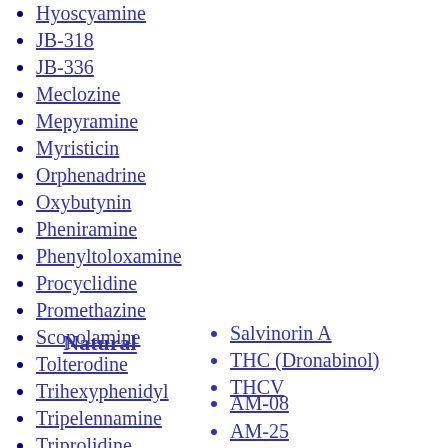Hyoscyamine
JB-318
JB-336
Meclozine
Mepyramine
Myristicin
Orphenadrine
Oxybutynin
Pheniramine
Phenyltoloxamine
Procyclidine
Promethazine
Scopolamine
Tolterodine
Trihexyphenidyl
Tripelennamine
Triprolidine
WIN-2299
Natural
Salvinorin A
THC (Dronabinol)
THCV
AM-08
AM-25
AM-27